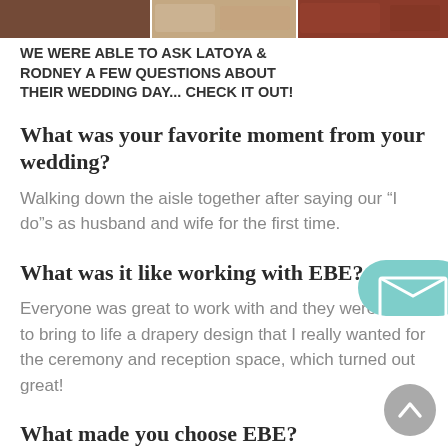[Figure (photo): Photo strip of wedding images at the top of the page]
WE WERE ABLE TO ASK LATOYA & RODNEY A FEW QUESTIONS ABOUT THEIR WEDDING DAY... CHECK IT OUT!
What was your favorite moment from your wedding?
Walking down the aisle together after saying our “I do”s as husband and wife for the first time.
What was it like working with EBE?
Everyone was great to work with and they were able to bring to life a drapery design that I really wanted for the ceremony and reception space, which turned out great!
What made you choose EBE?